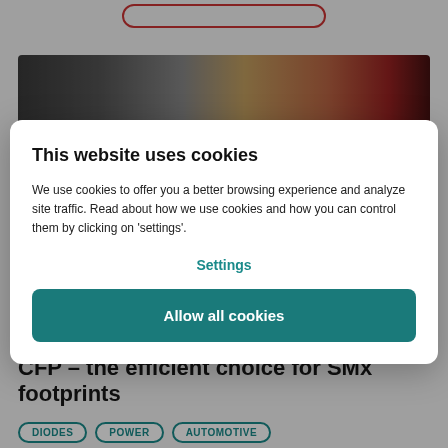[Figure (photo): Partial view of a car image strip at the top of the page, showing automotive close-up with warm tones, partially obscured by cookie modal overlay]
This website uses cookies
We use cookies to offer you a better browsing experience and analyze site traffic. Read about how we use cookies and how you can control them by clicking on 'settings'.
Settings
Allow all cookies
CFP – the efficient choice for SMx footprints
DIODES
POWER
AUTOMOTIVE